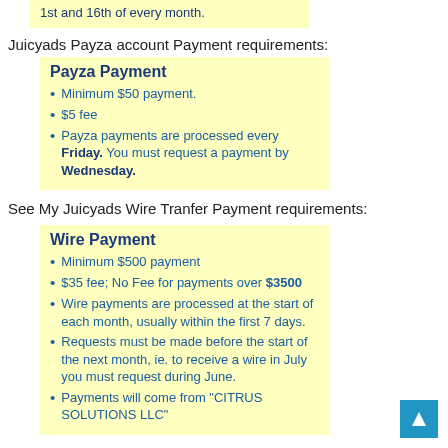1st and 16th of every month.
Juicyads Payza account Payment requirements:
Payza Payment
Minimum $50 payment.
$5 fee
Payza payments are processed every Friday. You must request a payment by Wednesday.
See My Juicyads Wire Tranfer Payment requirements:
Wire Payment
Minimum $500 payment
$35 fee; No Fee for payments over $3500
Wire payments are processed at the start of each month, usually within the first 7 days.
Requests must be made before the start of the next month, ie. to receive a wire in July you must request during June.
Payments will come from "CITRUS SOLUTIONS LLC"